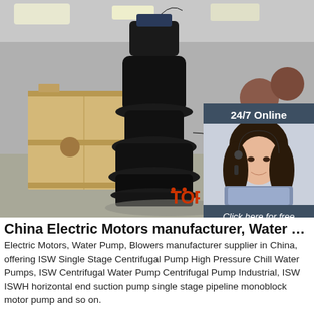[Figure (photo): Industrial submersible water pump displayed in a warehouse/factory setting. The pump is black, large, with a curved outlet pipe. A wooden crate is visible on the left, and large cylindrical pipes are visible on the right. An inset chat panel overlay appears in the upper right showing a female customer service representative with headset, text '24/7 Online', 'Click here for free chat!', and an orange QUOTATION button.]
China Electric Motors manufacturer, Water Pump, Blowers ...
Electric Motors, Water Pump, Blowers manufacturer supplier in China, offering ISW Single Stage Centrifugal Pump High Pressure Chill Water Pumps, ISW Centrifugal Water Pump Centrifugal Pump Industrial, ISW ISWH horizontal end suction pump single stage pipeline monoblock motor pump and so on.